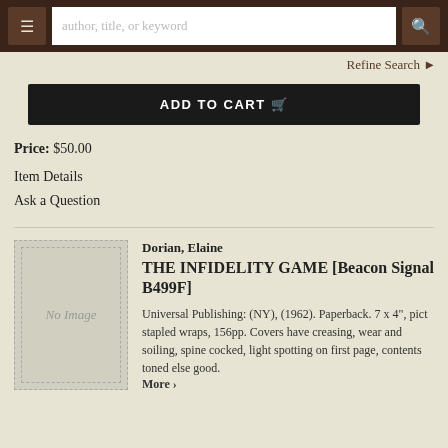author, title, or keyword [search bar]
Refine Search
ADD TO CART
Price: $50.00
Item Details
Ask a Question
[Figure (illustration): No Image placeholder for book cover]
Dorian, Elaine
THE INFIDELITY GAME [Beacon Signal B499F]
Universal Publishing: (NY), (1962). Paperback. 7 x 4", pict stapled wraps, 156pp. Covers have creasing, wear and soiling, spine cocked, light spotting on first page, contents toned else good.
More ›